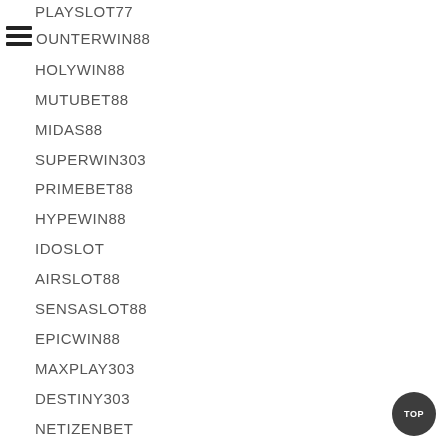PLAYSLOT77
OUNTERWIN88
HOLYWIN88
MUTUBET88
MIDAS88
SUPERWIN303
PRIMEBET88
HYPEWIN88
IDOSLOT
AIRSLOT88
SENSASLOT88
EPICWIN88
MAXPLAY303
DESTINY303
NETIZENBET
LOYALBET88
BIDWIN88
SUPERBSLOT88
TELEWIN88